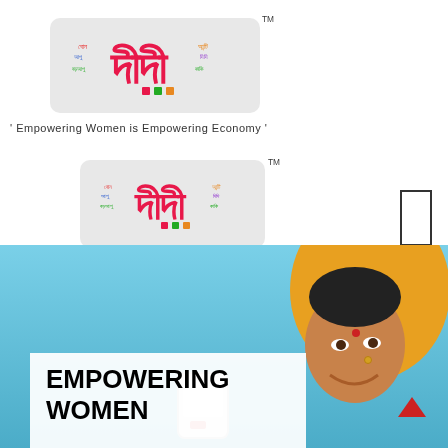[Figure (logo): Didi brand logo with Bengali script text on light grey rounded rectangle background]
TM
' Empowering Women is Empowering Economy '
[Figure (logo): Didi brand logo with Bengali script text on light grey rounded rectangle background (second instance)]
TM
' Empowering Women is Empowering Economy '
[Figure (photo): Photo of a smiling Indian woman in yellow sari/dupatta against blue sky background, with a mobile/payment device in foreground and a white box overlay at bottom showing EMPOWERING WOMEN text with red chevron triangle logo]